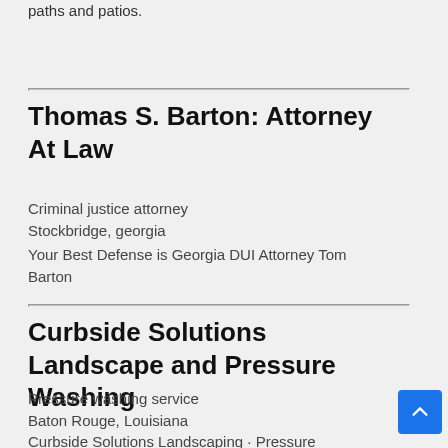paths and patios.
Thomas S. Barton: Attorney At Law
Criminal justice attorney
Stockbridge, georgia
Your Best Defense is Georgia DUI Attorney Tom Barton
Curbside Solutions Landscape and Pressure Washing
Pressure washing service
Baton Rouge, Louisiana
Curbside Solutions Landscaping · Pressure